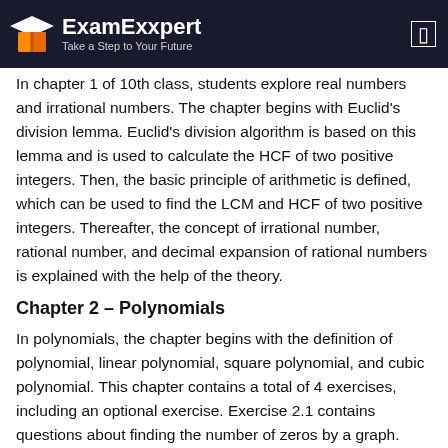ExamExxpert – Take a Step to Your Future
In chapter 1 of 10th class, students explore real numbers and irrational numbers. The chapter begins with Euclid's division lemma. Euclid's division algorithm is based on this lemma and is used to calculate the HCF of two positive integers. Then, the basic principle of arithmetic is defined, which can be used to find the LCM and HCF of two positive integers. Thereafter, the concept of irrational number, rational number, and decimal expansion of rational numbers is explained with the help of the theory.
Chapter 2 – Polynomials
In polynomials, the chapter begins with the definition of polynomial, linear polynomial, square polynomial, and cubic polynomial. This chapter contains a total of 4 exercises, including an optional exercise. Exercise 2.1 contains questions about finding the number of zeros by a graph. This requires understanding the geometric meaning of the zeroes of the polynomial. Exercise 2.2 is based on the